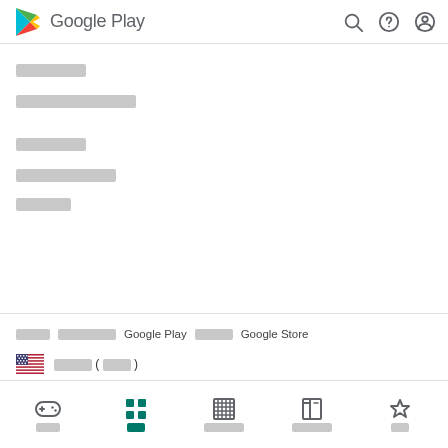Google Play
██████
████████████
██████
█████████
█████
████  ███████  Google Play ████  ███████  Google Store
🇺🇸 ████영어 (미국)
게임  앱  영화/TV  도서  어린이